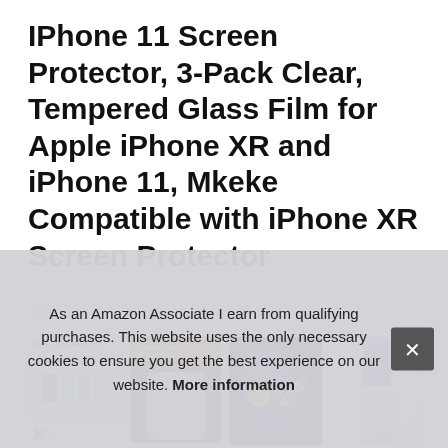IPhone 11 Screen Protector, 3-Pack Clear, Tempered Glass Film for Apple iPhone XR and iPhone 11, Mkeke Compatible with iPhone XR Screen Protector
#ad
[Figure (screenshot): Four product image thumbnails for the iPhone screen protector: first shows 'Only Compatible For' with phone silhouettes and a small crossed-out text; second shows 'Superior Sensitive' banner on dark background with hand holding phone; third shows a blue-toned astronaut/space image; fourth shows two phone models side by side.]
As an Amazon Associate I earn from qualifying purchases. This website uses the only necessary cookies to ensure you get the best experience on our website. More information
Mke...
protected at the same time! ONLY Compatible with iPhone XR